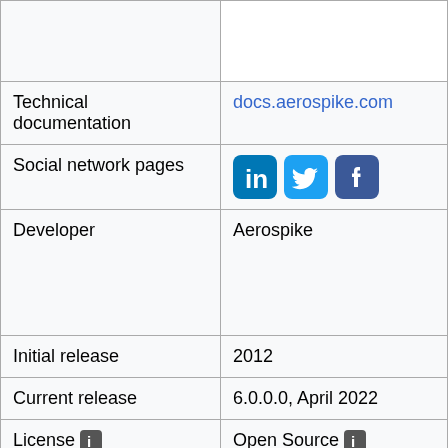| Field | Value |
| --- | --- |
|  |  |
| Technical documentation | docs.aerospike.com |
| Social network pages | [LinkedIn] [Twitter] [Facebook] |
| Developer | Aerospike |
| Initial release | 2012 |
| Current release | 6.0.0.0, April 2022 |
| License [i] | Open Source [i] |
| Cloud-based only [i] | no |
| DBaaS offerings (sponsored links) [i] |  |